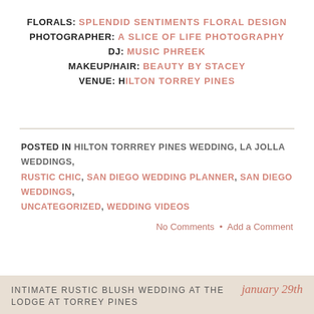FLORALS: SPLENDID SENTIMENTS FLORAL DESIGN
PHOTOGRAPHER: A SLICE OF LIFE PHOTOGRAPHY
DJ: MUSIC PHREEK
MAKEUP/HAIR: BEAUTY BY STACEY
VENUE: HILTON TORREY PINES
POSTED IN HILTON TORRREY PINES WEDDING, LA JOLLA WEDDINGS, RUSTIC CHIC, SAN DIEGO WEDDING PLANNER, SAN DIEGO WEDDINGS, UNCATEGORIZED, WEDDING VIDEOS
No Comments • Add a Comment
INTIMATE RUSTIC BLUSH WEDDING AT THE LODGE AT TORREY PINES — january 29th